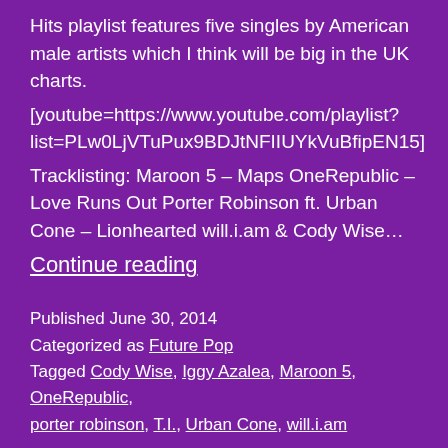Hits playlist features five singles by American male artists which I think will be big in the UK charts. [youtube=https://www.youtube.com/playlist?list=PLw0LjVTuPux9BDJtNFIIUYkVuBfipEN15] Tracklisting: Maroon 5 – Maps OneRepublic – Love Runs Out Porter Robinson ft. Urban Cone – Lionhearted will.i.am & Cody Wise… Continue reading
Published June 30, 2014
Categorized as Future Pop
Tagged Cody Wise, Iggy Azalea, Maroon 5, OneRepublic, porter robinson, T.I., Urban Cone, will.i.am